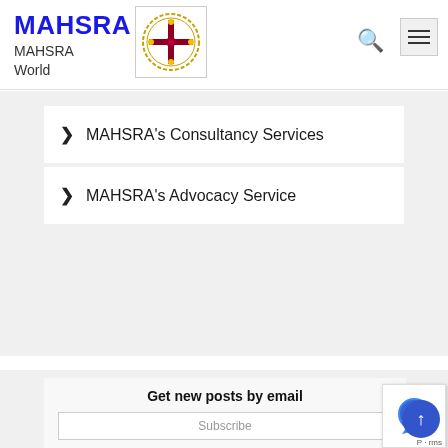MAHSRA MAHSRA World
[Figure (logo): MAHSRA circular logo with cross symbol in gold and red on white background]
MAHSRA's Consultancy Services
MAHSRA's Advocacy Service
Get new posts by email
Subscribe